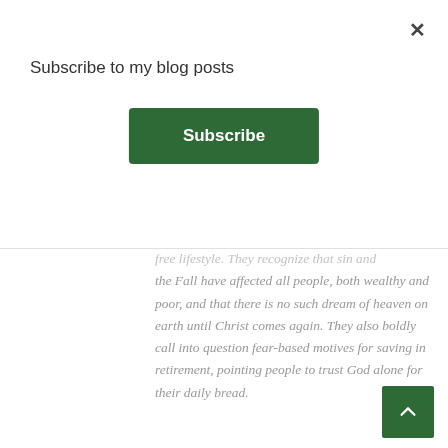Subscribe to my blog posts
Subscribe
free lifestyle. They recognize that sin and the Fall have affected all people, both wealthy and poor, and that there is no such dream of heaven on earth until Christ comes again. They also boldly call into question fear-based motives for saving in retirement, pointing people to trust God alone for their daily bread.
Also, since retirement (the cessation of work for a lifetime) is essentially a foreign concept to the Bible, Christian financial